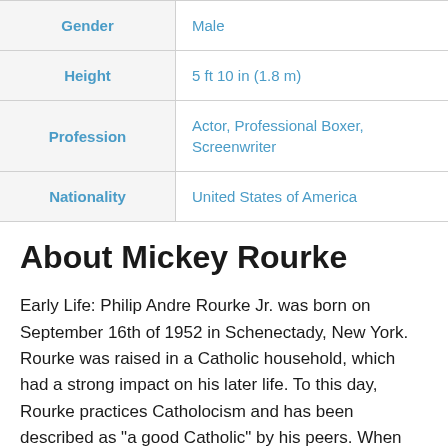| Label | Value |
| --- | --- |
| Gender | Male |
| Height | 5 ft 10 in (1.8 m) |
| Profession | Actor, Professional Boxer, Screenwriter |
| Nationality | United States of America |
About Mickey Rourke
Early Life: Philip Andre Rourke Jr. was born on September 16th of 1952 in Schenectady, New York. Rourke was raised in a Catholic household, which had a strong impact on his later life. To this day, Rourke practices Catholocism and has been described as "a good Catholic" by his peers. When Mickey was just six, his father left the family. His